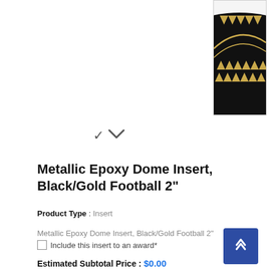[Figure (photo): Partial view of a black circular medal/insert with gold triangular pennant decorations and gold curved line design on black background]
v
Metallic Epoxy Dome Insert, Black/Gold Football 2"
Product Type : Insert
Metallic Epoxy Dome Insert, Black/Gold Football 2"
Include this insert to an award*
Estimated Subtotal Price : $0.00